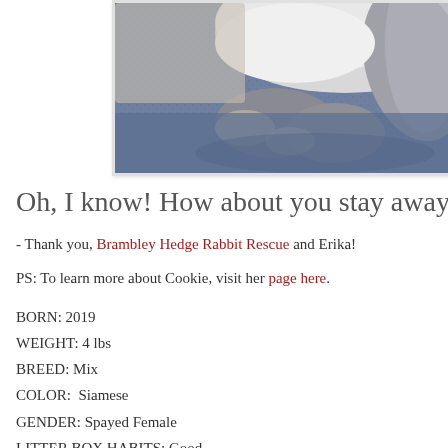[Figure (photo): Close-up photo of a grey and white rabbit lying on a blue carpet/rug, showing its legs and body from above/side angle.]
Oh, I know! How about you stay away fr
- Thank you, Brambley Hedge Rabbit Rescue and Erika!
PS: To learn more about Cookie, visit her page here.
BORN: 2019
WEIGHT: 4 lbs
BREED: Mix
COLOR:  Siamese
GENDER: Spayed Female
LITTER BOX HABITS: Good
BHRR: http://bhrabbitrescue.org